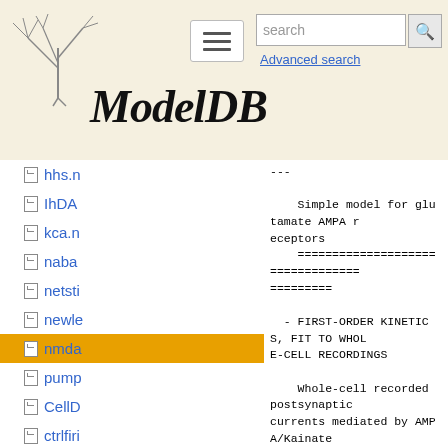[Figure (logo): ModelDB website header with tree logo, hamburger menu, search box, and ModelDB italic title]
hhs.r
IhDA
kca.n
naba
netsti
newle
nmda (active)
pump
CellD
ctrlfiri
DA_r
DA_r
DA_r
DA_r
firing.
---

    Simple model for glutamate AMPA receptors
    =========================================

  - FIRST-ORDER KINETICS, FIT TO WHOLE-CELL RECORDINGS

    Whole-cell recorded postsynaptic currents mediated by AMPA/Kainate
    receptors (Xiang et al., J. Neurophysiol. 71: 2552-2556, 1994) were used
    to estimate the parameters of the present model; the fit was performed
    using a simplex algorithm (see Destexhe et al., J. Computational Neurosci.